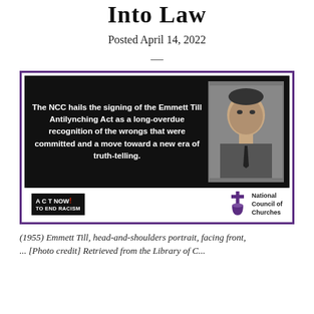Into Law
Posted April 14, 2022
[Figure (infographic): NCC infographic hailing the signing of the Emmett Till Antilynching Act, featuring a quote on a black background with a portrait of Emmett Till, the 'Act Now to End Racism' logo, and the National Council of Churches logo.]
(1955) Emmett Till, head-and-shoulders portrait, facing front, ... [Photo credit] Retrieved from the Library of C...